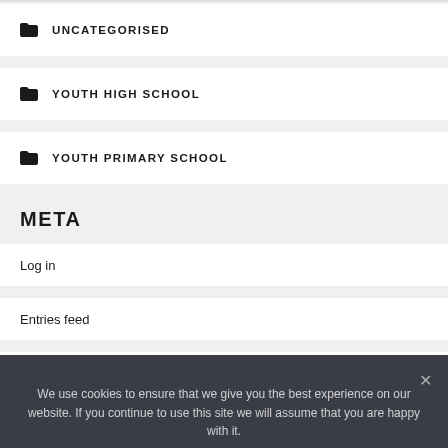UNCATEGORISED
YOUTH HIGH SCHOOL
YOUTH PRIMARY SCHOOL
META
Log in
Entries feed
Comments feed
We use cookies to ensure that we give you the best experience on our website. If you continue to use this site we will assume that you are happy with it.